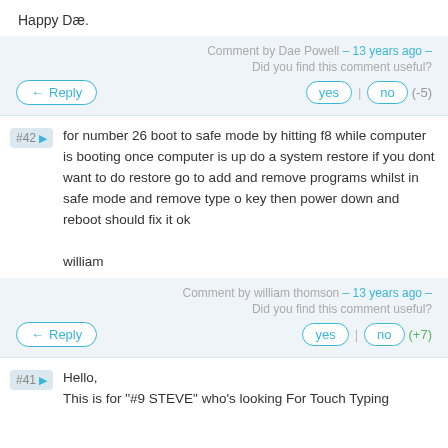Happy Dæ.
Comment by Dae Powell – 13 years ago – Did you find this comment useful?
Reply | yes | no (-5)
#42 for number 26 boot to safe mode by hitting f8 while computer is booting once computer is up do a system restore if you dont want to do restore go to add and remove programs whilst in safe mode and remove type o key then power down and reboot should fix it ok

william
Comment by william thomson – 13 years ago – Did you find this comment useful?
Reply | yes | no (+7)
#41 Hello, This is for "#9 STEVE" who's looking For Touch Typing